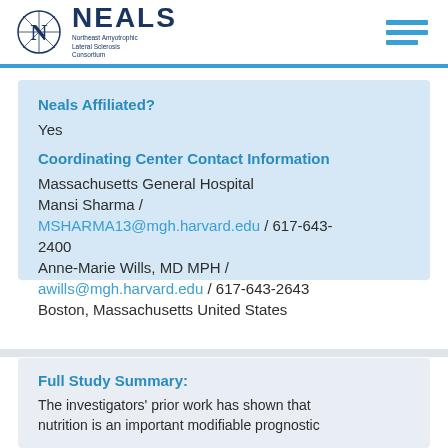NEALS — Northeast Amyotrophic Lateral Sclerosis Consortium
Neals Affiliated?
Yes
Coordinating Center Contact Information
Massachusetts General Hospital
Mansi Sharma /
MSHARMA13@mgh.harvard.edu / 617-643-2400
Anne-Marie Wills, MD MPH /
awills@mgh.harvard.edu / 617-643-2643
Boston, Massachusetts United States
Full Study Summary:
The investigators' prior work has shown that nutrition is an important modifiable prognostic